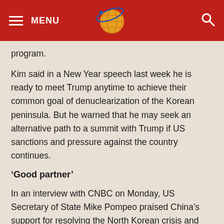MENU [logo] [search]
program.
Kim said in a New Year speech last week he is ready to meet Trump anytime to achieve their common goal of denuclearization of the Korean peninsula. But he warned that he may seek an alternative path to a summit with Trump if US sanctions and pressure against the country continues.
‘Good partner’
In an interview with CNBC on Monday, US Secretary of State Mike Pompeo praised China’s support for resolving the North Korean crisis and said he did not think the US trade dispute with Beijing would affect this.